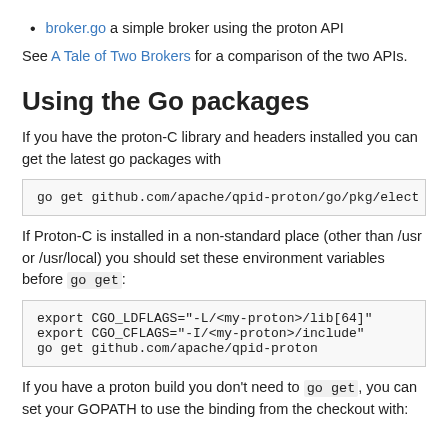broker.go a simple broker using the proton API
See A Tale of Two Brokers for a comparison of the two APIs.
Using the Go packages
If you have the proton-C library and headers installed you can get the latest go packages with
go get github.com/apache/qpid-proton/go/pkg/elect
If Proton-C is installed in a non-standard place (other than /usr or /usr/local) you should set these environment variables before go get:
export CGO_LDFLAGS="-L/<my-proton>/lib[64]"
export CGO_CFLAGS="-I/<my-proton>/include"
go get github.com/apache/qpid-proton
If you have a proton build you don't need to go get, you can set your GOPATH to use the binding from the checkout with: